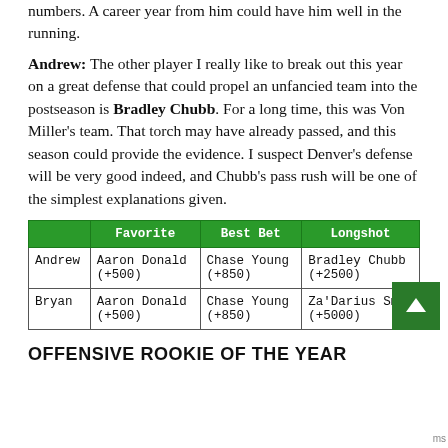numbers. A career year from him could have him well in the running.
Andrew: The other player I really like to break out this year on a great defense that could propel an unfancied team into the postseason is Bradley Chubb. For a long time, this was Von Miller's team. That torch may have already passed, and this season could provide the evidence. I suspect Denver's defense will be very good indeed, and Chubb's pass rush will be one of the simplest explanations given.
|  | Favorite | Best Bet | Longshot |
| --- | --- | --- | --- |
| Andrew | Aaron Donald (+500) | Chase Young (+850) | Bradley Chubb (+2500) |
| Bryan | Aaron Donald (+500) | Chase Young (+850) | Za'Darius Smith (+5000) |
OFFENSIVE ROOKIE OF THE YEAR